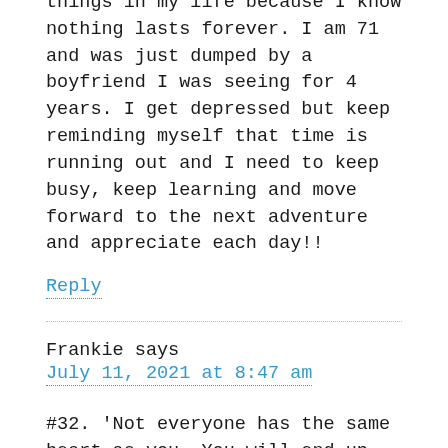things in my life because I know nothing lasts forever. I am 71 and was just dumped by a boyfriend I was seeing for 4 years. I get depressed but keep reminding myself that time is running out and I need to keep busy, keep learning and move forward to the next adventure and appreciate each day!!
Reply
Frankie says
July 11, 2021 at 8:47 am
#32. 'Not everyone has the same heart as you. You will end up heartbroken if you